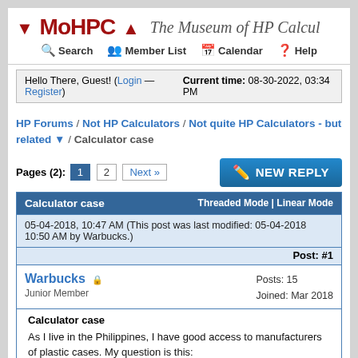MoHPC — The Museum of HP Calculators
Hello There, Guest! (Login — Register)  Current time: 08-30-2022, 03:34 PM
HP Forums / Not HP Calculators / Not quite HP Calculators - but related ▼ / Calculator case
Pages (2): 1 2 Next »
Calculator case   Threaded Mode | Linear Mode
05-04-2018, 10:47 AM (This post was last modified: 05-04-2018 10:50 AM by Warbucks.)
Post: #1
Warbucks  Junior Member   Posts: 15  Joined: Mar 2018
Calculator case

As I live in the Philippines, I have good access to manufacturers of plastic cases. My question is this:

If I make replacement hp cases for the 29, 34, and 41, with no